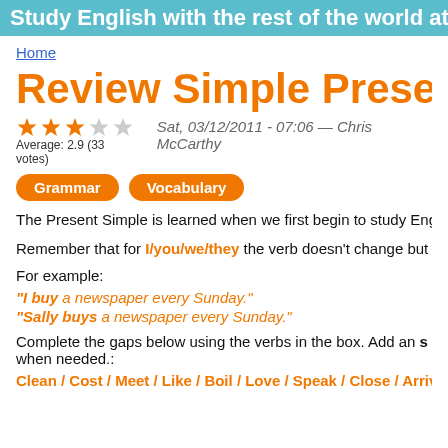Study English with the rest of the world at EC.
Home
Review Simple Prese
Sat, 03/12/2011 - 07:06 — Chris McCarthy
Average: 2.9 (33 votes)
Grammar   Vocabulary
The Present Simple is learned when we first begin to study English and is used a
Remember that for I/you/we/they the verb doesn't change but for he/she/it you
For example:
"I buy a newspaper every Sunday."
"Sally buys a newspaper every Sunday."
Complete the gaps below using the verbs in the box. Add an s when needed.:
Clean / Cost / Meet / Like / Boil / Love / Speak / Close / Arrive / Read